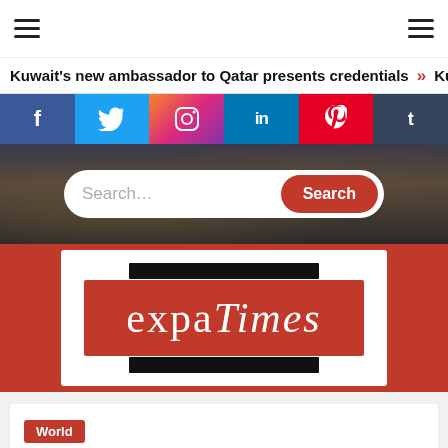Navigation bar with hamburger menus
Kuwait's new ambassador to Qatar presents credentials  »  Ku…
[Figure (infographic): Social media icon buttons: Facebook, Twitter, Instagram, LinkedIn, Pinterest, Tumblr]
[Figure (screenshot): Hero banner with city crowd background and search bar with placeholder 'Search...' and red Search button]
[Figure (logo): expaTimes logo: white outer box, black bars top and bottom, red center box with white text 'expaTimes' on red background]
World
Article headline beginning (partially visible)